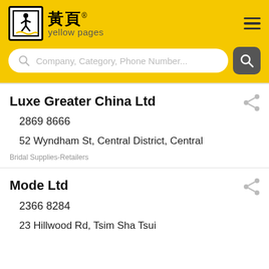[Figure (logo): Yellow Pages Hong Kong logo with walking person icon, Chinese text 黃頁 and english text 'yellow pages']
Company, Category, Phone Number...
Luxe Greater China Ltd
2869 8666
52 Wyndham St, Central District, Central
Bridal Supplies-Retailers
Mode Ltd
2366 8284
23 Hillwood Rd, Tsim Sha Tsui